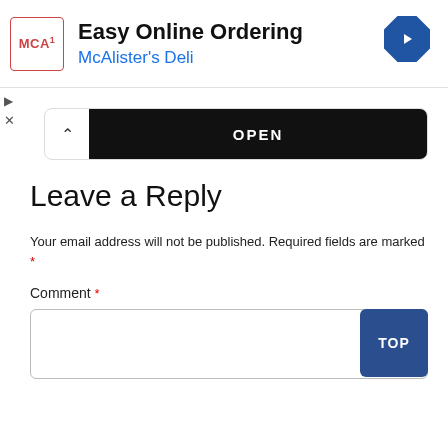[Figure (screenshot): McAlister's Deli advertisement banner with logo, 'Easy Online Ordering' title, and blue navigation diamond icon]
[Figure (screenshot): OPEN status bar, dark/black background with white OPEN text, collapse arrow button on left]
Leave a Reply
Your email address will not be published. Required fields are marked *
Comment *
[Figure (screenshot): Comment text area input box with a dark blue TOP button in top right corner]